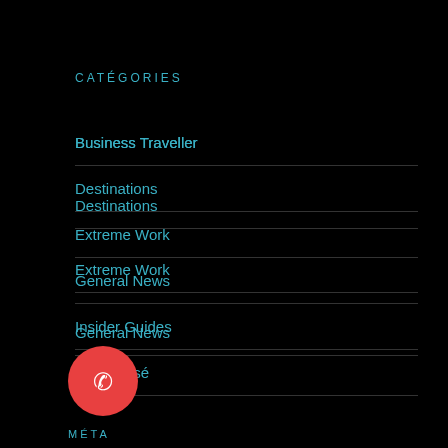CATÉGORIES
Business Traveller
Destinations
Extreme Work
General News
Insider Guides
Non classé
[Figure (illustration): Red circular phone/call button icon with a phone handset symbol]
MÉTA